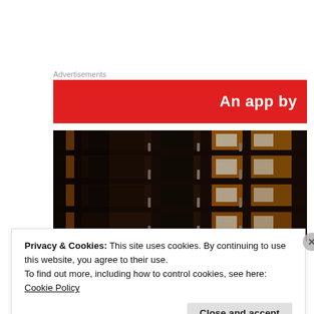Advertisements
[Figure (other): Red advertisement banner with white bold text reading 'An app by']
[Figure (photo): Close-up photograph of wooden bookshelves or filing cabinets with metal handles, warm orange/brown lighting, dark background]
Privacy & Cookies: This site uses cookies. By continuing to use this website, you agree to their use.
To find out more, including how to control cookies, see here: Cookie Policy
Close and accept